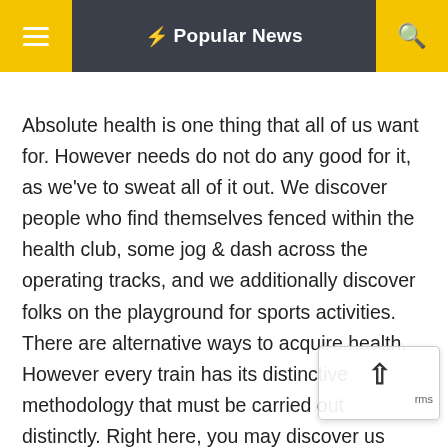⚡ Popular News
Absolute health is one thing that all of us want for. However needs do not do any good for it, as we've to sweat all of it out. We discover people who find themselves fenced within the health club, some jog & dash across the operating tracks, and we additionally discover folks on the playground for sports activities. There are alternative ways to acquire health. However every train has its distinctive methodology that must be carried out distinctly. Right here, you may discover us speaking about methods by which we work out to acquire six-pack abs. An enormous YES would come nodding in from every one that'd be requested for packs. Abs certain does get you a powerful, well designed physique. Nicely. Every particular person had